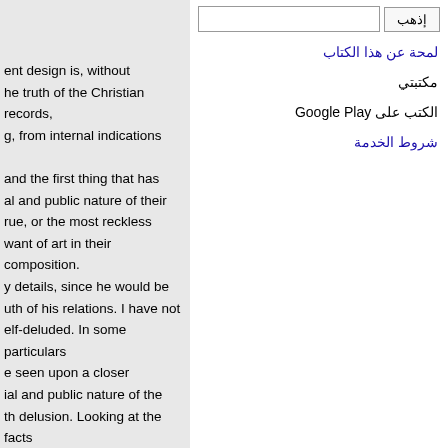ent design is, without
he truth of the Christian records,
g, from internal indications
and the first thing that has
al and public nature of their
rue, or the most reckless
want of art in their composition.
y details, since he would be
uth of his relations. I have not
elf-deluded. In some particulars
e seen upon a closer
ial and public nature of the
th delusion. Looking at the facts
-day, in public places and amidst
want of art is evinced in their
icult thing to settle fully their
إذهب
لمحة عن هذا الكتاب
مكتبتي
الكتب على Google Play
شروط الخدمة